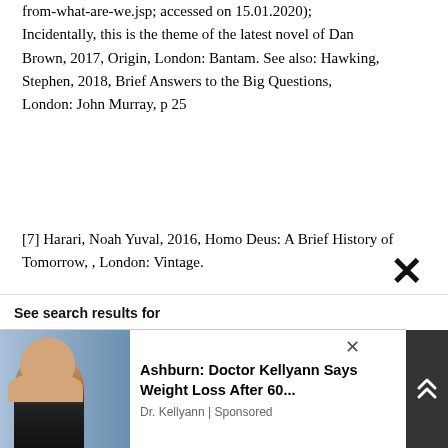from-what-are-we.jsp; accessed on 15.01.2020); Incidentally, this is the theme of the latest novel of Dan Brown, 2017, Origin, London: Bantam. See also: Hawking, Stephen, 2018, Brief Answers to the Big Questions, London: John Murray, p 25
[7] Harari, Noah Yuval, 2016, Homo Deus: A Brief History of Tomorrow, , London: Vintage.
[8] Hawking, Stephen, 2011, Available at: https://www.newscientist.com/article/mg21128222-500-existence-where-did-we-come-from/ (Accessed on 16.1.2020)
See search results for
[Figure (photo): Advertisement overlay showing a woman on a talk show set, with headline 'Ashburn: Doctor Kellyann Says Weight Loss After 60...' sponsored by Dr. Kellyann]